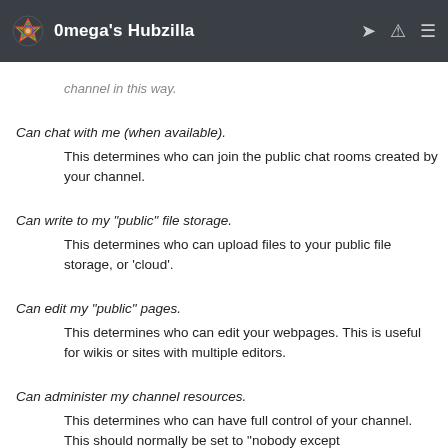0mega's Hubzilla
channel in this way.
Can chat with me (when available).
    This determines who can join the public chat rooms created by your channel.
Can write to my "public" file storage.
    This determines who can upload files to your public file storage, or 'cloud'.
Can edit my "public" pages.
    This determines who can edit your webpages. This is useful for wikis or sites with multiple editors.
Can administer my channel resources.
    This determines who can have full control of your channel. This should normally be set to "nobody except...